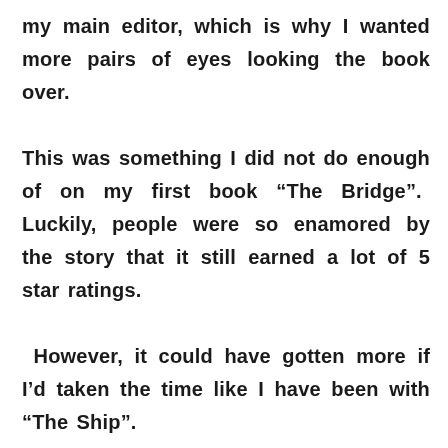my main editor, which is why I wanted more pairs of eyes looking the book over. This was something I did not do enough of on my first book “The Bridge”. Luckily, people were so enamored by the story that it still earned a lot of 5 star ratings. However, it could have gotten more if I’d taken the time like I have been with “The Ship”.